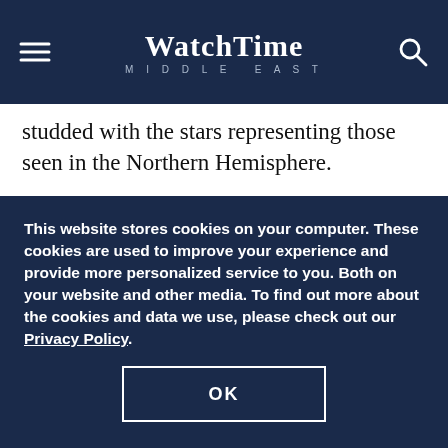WatchTime Middle East
studded with the stars representing those seen in the Northern Hemisphere.
This watch has a unique moon-phase display; the orbital moon mimics the path of the evening star and is extremely accurate. Chopard says it will take 122 years to accumulate a one-day time lag compared with the actual moon and only then will it require
This website stores cookies on your computer. These cookies are used to improve your experience and provide more personalized service to you. Both on your website and other media. To find out more about the cookies and data we use, please check out our Privacy Policy.